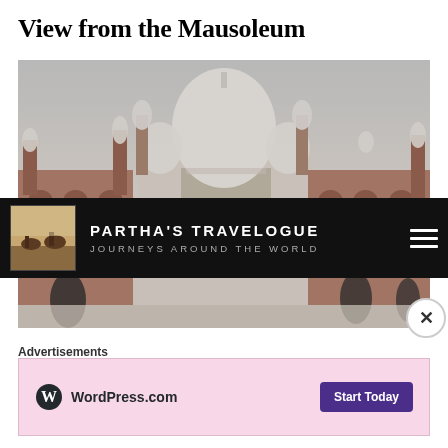View from the Mausoleum
[Figure (photo): Foggy photograph of the Taj Mahal viewed from the mausoleum side, showing the red sandstone mosque building with white Mughal domes rising through haze, with visitors visible in the foreground]
PARTHA'S TRAVELOGUE JOURNEYS AROUND THE WORLD
Advertisements
[Figure (screenshot): WordPress.com advertisement banner with pink background showing WordPress.com logo on the left and a 'Start Today' purple button on the right]